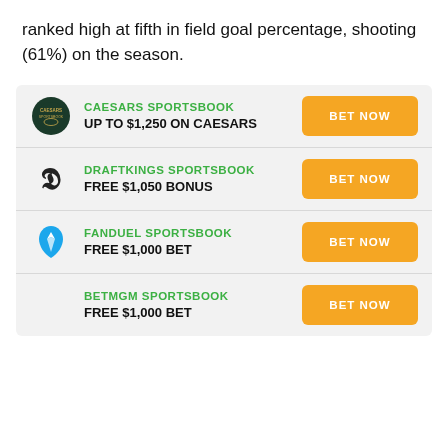ranked high at fifth in field goal percentage, shooting (61%) on the season.
CAESARS SPORTSBOOK — UP TO $1,250 ON CAESARS — BET NOW
DRAFTKINGS SPORTSBOOK — FREE $1,050 BONUS — BET NOW
FANDUEL SPORTSBOOK — FREE $1,000 BET — BET NOW
BETMGM SPORTSBOOK — FREE $1,000 BET — BET NOW